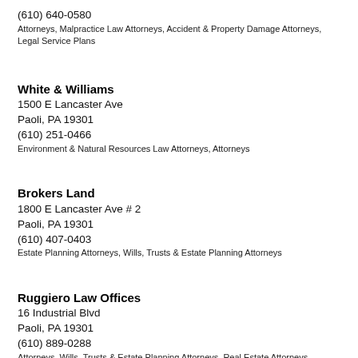(610) 640-0580
Attorneys, Malpractice Law Attorneys, Accident & Property Damage Attorneys, Legal Service Plans
White & Williams
1500 E Lancaster Ave
Paoli, PA 19301
(610) 251-0466
Environment & Natural Resources Law Attorneys, Attorneys
Brokers Land
1800 E Lancaster Ave # 2
Paoli, PA 19301
(610) 407-0403
Estate Planning Attorneys, Wills, Trusts & Estate Planning Attorneys
Ruggiero Law Offices
16 Industrial Blvd
Paoli, PA 19301
(610) 889-0288
Attorneys, Wills, Trusts & Estate Planning Attorneys, Real Estate Attorneys, General Practice Attorn